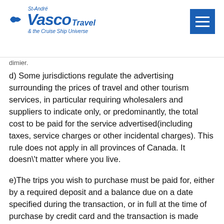Vasco Travel St-André & the Cruise Ship Universe
d) Some jurisdictions regulate the advertising surrounding the prices of travel and other tourism services, in particular requiring wholesalers and suppliers to indicate only, or predominantly, the total cost to be paid for the service advertised(including taxes, service charges or other incidental charges). This rule does not apply in all provinces of Canada. It doesn\'t matter where you live.
e)The trips you wish to purchase must be paid for, either by a required deposit and a balance due on a date specified during the transaction, or in full at the time of purchase by credit card and the transaction is made directly on the site. If the required deposit option is chosen, forgetting or withholding the final payment by the specified date will result in the cancellation of your reservation and the full